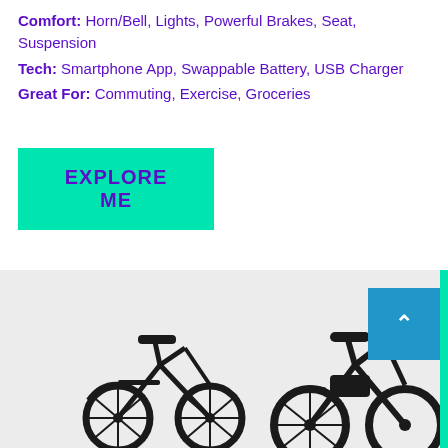Comfort: Horn/Bell, Lights, Powerful Brakes, Seat, Suspension
Tech: Smartphone App, Swappable Battery, USB Charger
Great For: Commuting, Exercise, Groceries
[Figure (other): Cyan/turquoise button with bold purple uppercase text 'EXPLORE ME']
[Figure (photo): Photo of two electric bicycles (e-bikes) with black frames against a light gray background. A blue 'back to top' button with an upward arrow chevron is visible in the upper right. A cyan strip runs along the right edge.]